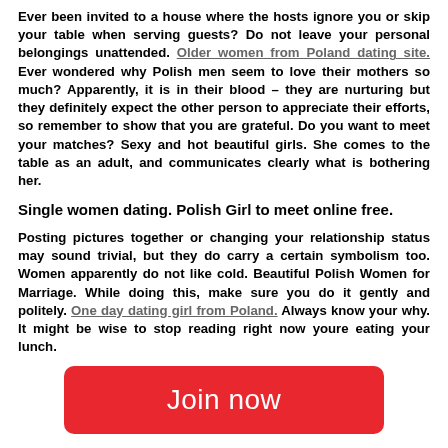Ever been invited to a house where the hosts ignore you or skip your table when serving guests? Do not leave your personal belongings unattended. Older women from Poland dating site. Ever wondered why Polish men seem to love their mothers so much? Apparently, it is in their blood – they are nurturing but they definitely expect the other person to appreciate their efforts, so remember to show that you are grateful. Do you want to meet your matches? Sexy and hot beautiful girls. She comes to the table as an adult, and communicates clearly what is bothering her.
Single women dating. Polish Girl to meet online free.
Posting pictures together or changing your relationship status may sound trivial, but they do carry a certain symbolism too. Women apparently do not like cold. Beautiful Polish Women for Marriage. While doing this, make sure you do it gently and politely. One day dating girl from Poland. Always know your why. It might be wise to stop reading right now youre eating your lunch.
[Figure (other): Red rounded button with white text reading 'Join now']